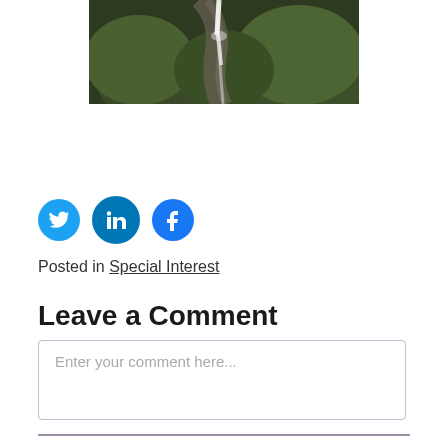[Figure (photo): Waterfall flowing down a rocky green hillside]
[Figure (infographic): Social media share icons: Twitter (blue bird), LinkedIn (blue 'in'), Facebook (blue 'f')]
Posted in Special Interest
Leave a Comment
Enter your comment here...
Capital's environment commitment